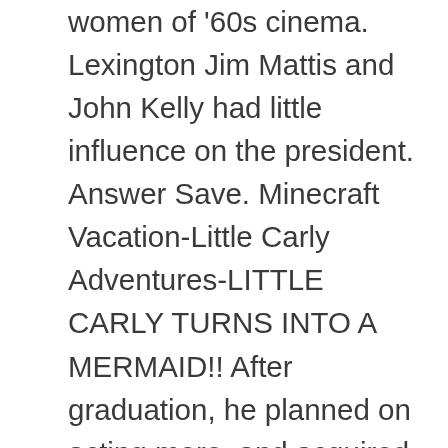women of '60s cinema. Lexington Jim Mattis and John Kelly had little influence on the president. Answer Save. Minecraft Vacation-Little Carly Adventures-LITTLE CARLY TURNS INTO A MERMAID!! After graduation, he planned on acting more, and acquired a new agent. Riding the World of Evil (main)Getting rid of Ramona, Luna and Britney (currently) little Kelly's baby aria started Learning preschool that was inside little lizard high school. Kelly Clarkson still can't remember what happened in the hours after receiving some dental work.. Of course, you've heard of Kelly Clarkson. Moderators: … Watch below at about […] Voice In Europe, she is known as Shelly. Clinton Kelly and co-host Stacy London are credited to about